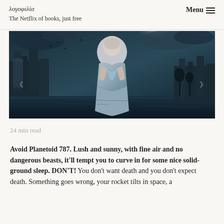λογοφιλία
The Netflix of books, just free
[Figure (photo): A woman in a silvery strapless dress clutching fabric to her chest, standing against a dark fantasy background of gothic architecture, murky water, and dramatic blue-toned stormy sky.]
24 min read
Avoid Planetoid 787. Lush and sunny, with fine air and no dangerous beasts, it'll tempt you to curve in for some nice solid-ground sleep. DON'T! You don't want death and you don't expect death. Something goes wrong, your rocket tilts in space, a